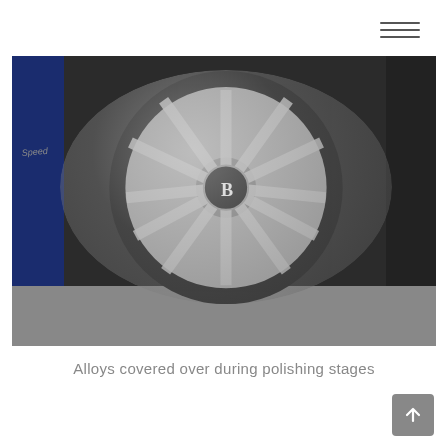[Figure (photo): Close-up photo of a Bentley alloy wheel covered with a black plastic/polythene protective cover during polishing stages. The vehicle is dark blue. The wheel is silver multi-spoke. The car is in a workshop setting.]
Alloys covered over during polishing stages
[Figure (other): Back-to-top button (arrow pointing upward) in the bottom-right corner]